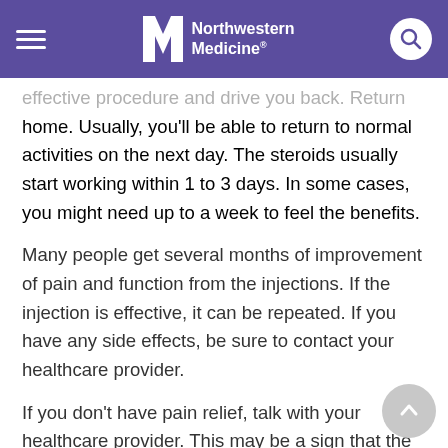Northwestern Medicine
effective procedure and drive you back. Return home. Usually, you'll be able to return to normal activities on the next day. The steroids usually start working within 1 to 3 days. In some cases, you might need up to a week to feel the benefits.
Many people get several months of improvement of pain and function from the injections. If the injection is effective, it can be repeated. If you have any side effects, be sure to contact your healthcare provider.
If you don't have pain relief, talk with your healthcare provider. This may be a sign that the pain is coming from some place other than the spinal nerves.